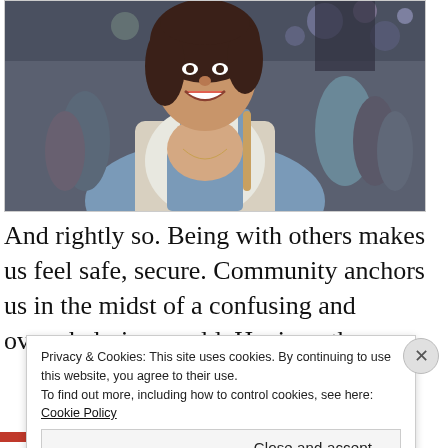[Figure (photo): A smiling woman wearing denim overalls and a white top with a light cardigan, standing at an outdoor event or festival with a crowd in the background and colorful lights.]
And rightly so. Being with others makes us feel safe, secure. Community anchors us in the midst of a confusing and overwhelming world. Having others
Privacy & Cookies: This site uses cookies. By continuing to use this website, you agree to their use.
To find out more, including how to control cookies, see here: Cookie Policy
Close and accept